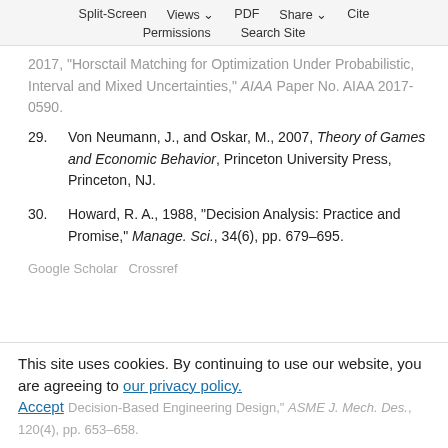Split-Screen   Views   PDF   Share   Cite   Permissions   Search Site
2017, "Horsctail Matching for Optimization Under Probabilistic, Interval and Mixed Uncertainties," AIAA Paper No. AIAA 2017-0590.
29. Von Neumann, J., and Oskar, M., 2007, Theory of Games and Economic Behavior, Princeton University Press, Princeton, NJ.
30. Howard, R. A., 1988, "Decision Analysis: Practice and Promise," Manage. Sci., 34(6), pp. 679–695.
Google Scholar  Crossref
This site uses cookies. By continuing to use our website, you are agreeing to our privacy policy. Accept
Decision-Based Engineering Design," ASME J. Mech. Des., 120(4), pp. 653–658.